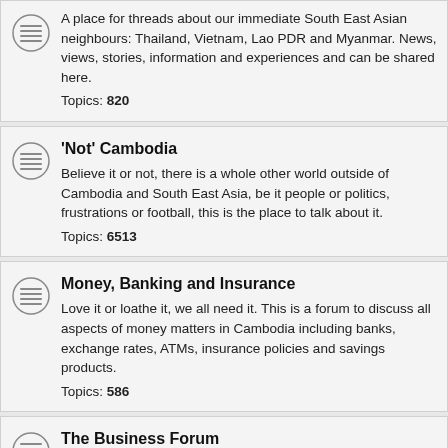A place for threads about our immediate South East Asian neighbours: Thailand, Vietnam, Lao PDR and Myanmar. News, views, stories, information and experiences and can be shared here. Topics: 820
'Not' Cambodia - Believe it or not, there is a whole other world outside of Cambodia and South East Asia, be it people or politics, frustrations or football, this is the place to talk about it. Topics: 6513
Money, Banking and Insurance - Love it or loathe it, we all need it. This is a forum to discuss all aspects of money matters in Cambodia including banks, exchange rates, ATMs, insurance policies and savings products. Topics: 586
The Business Forum - Consultants or carpenters, bar owners or basket weavers, this is the room to discuss any aspect of expat working or business life in Cambodia; the where's, the who's and the why's. Topics: 891